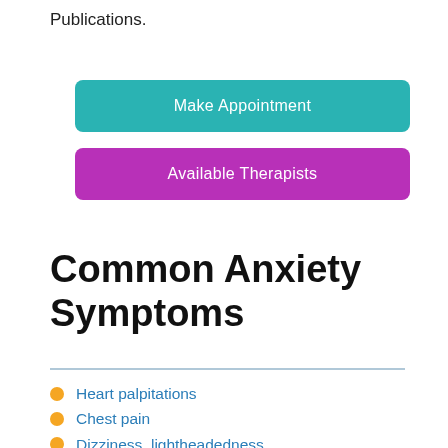Publications.
[Figure (other): Teal rounded rectangle button labeled 'Make Appointment']
[Figure (other): Purple rounded rectangle button labeled 'Available Therapists']
Common Anxiety Symptoms
Heart palpitations
Chest pain
Dizziness, lightheadedness
Muscle weakness
Numbness, tingling